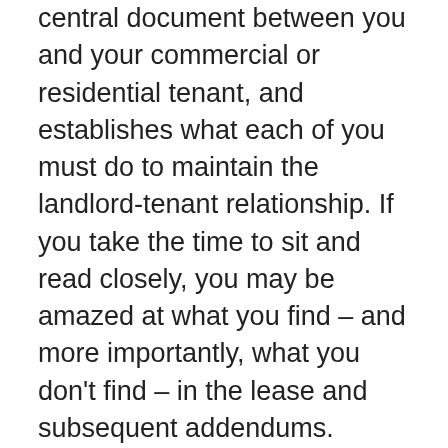central document between you and your commercial or residential tenant, and establishes what each of you must do to maintain the landlord-tenant relationship. If you take the time to sit and read closely, you may be amazed at what you find – and more importantly, what you don't find – in the lease and subsequent addendums. We make this recommendation at every seminar we provide, as it can be a very powerful experience for landlords. Like any other written document, details fade in our minds, and sometimes we forget changes that we made, or worse yet, changes we intended to make but never finalized. It is not unusual for landlords who sit down for a post-seminar reading of their lease, to later tell us about